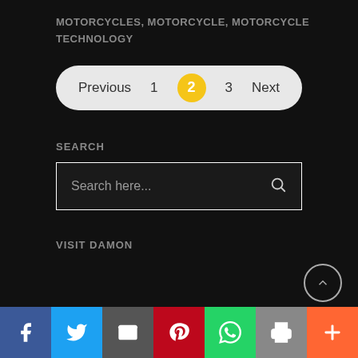MOTORCYCLES, MOTORCYCLE, MOTORCYCLE TECHNOLOGY
[Figure (other): Pagination control with Previous, 1, 2 (active/highlighted in yellow), 3, Next buttons on a light rounded pill background]
SEARCH
[Figure (other): Search input box with placeholder text 'Search here...' and a search icon on the right]
VISIT DAMON
[Figure (other): Social sharing bar at the bottom with icons: Facebook (blue), Twitter (light blue), Email (gray), Pinterest (red), WhatsApp (green), Print (gray), More/Plus (orange)]